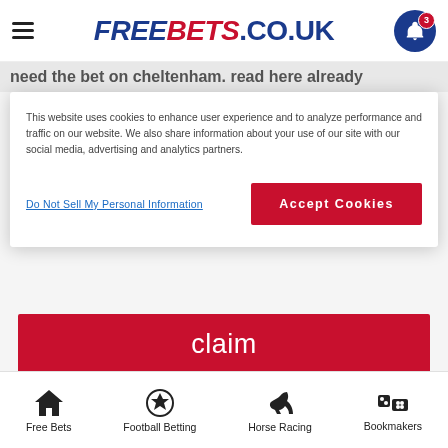FREEBETS.CO.UK
This website uses cookies to enhance user experience and to analyze performance and traffic on our website. We also share information about your use of our site with our social media, advertising and analytics partners.
Do Not Sell My Personal Information
Accept Cookies
claim
T&Cs Apply
New customers only. Place your FIRST bet on any Sportsbook market and if it loses we will refund your stake in CASH. Max refund is £20. Only deposits made using Cards will qualify. £5 Bet Builder free bet will be available to claim from the promotions hub after the qualifying bet has been settled & will be valid for 7 days. T&Cs apply. Please gamble responsibly.
Free Bets | Football Betting | Horse Racing | Bookmakers